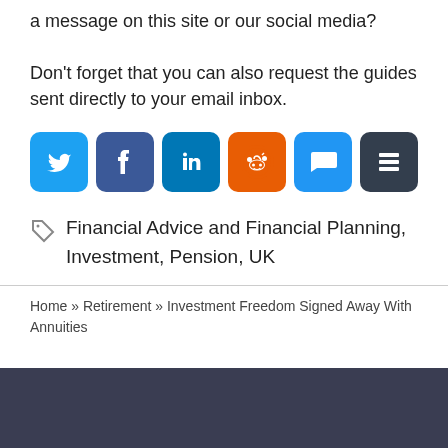a message on this site or our social media?
Don't forget that you can also request the guides sent directly to your email inbox.
[Figure (infographic): Six social media share buttons: Twitter (blue bird), Facebook (dark blue f), LinkedIn (blue in), Reddit (orange alien), Chat/SMS (blue speech bubble), Buffer (dark stacked layers)]
Financial Advice and Financial Planning, Investment, Pension, UK
Home » Retirement » Investment Freedom Signed Away With Annuities